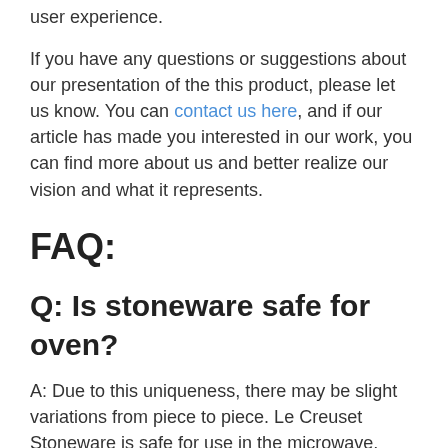user experience.

If you have any questions or suggestions about our presentation of the this product, please let us know. You can contact us here, and if our article has made you interested in our work, you can find more about us and better realize our vision and what it represents.
FAQ:
Q: Is stoneware safe for oven?
A: Due to this uniqueness, there may be slight variations from piece to piece. Le Creuset Stoneware is safe for use in the microwave, freezer, refrigerator, dishwasher